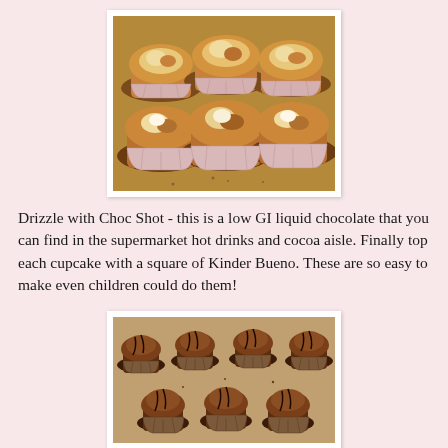[Figure (photo): Six chocolate muffins/cupcakes in white paper cases arranged on a surface, each topped with a white cream filling and golden-brown baked top, viewed from slightly above]
Drizzle with Choc Shot - this is a low GI liquid chocolate that you can find in the supermarket hot drinks and cocoa aisle. Finally top each cupcake with a square of Kinder Bueno. These are so easy to make even children could do them!
[Figure (photo): Multiple chocolate cupcakes in dark paper cases arranged on a surface, each topped with chocolate frosting and drizzled with dark chocolate sauce, viewed from slightly above]